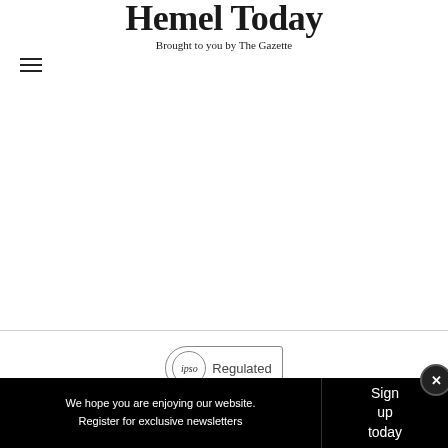Hemel Today — Brought to you by The Gazette
[Figure (logo): Hemel Today newspaper logo with hamburger menu icon on the left]
[Figure (logo): IPSO Regulated badge]
This website and its associated newspaper are members of Independent Press Standards Organisation (IPSO)
We hope you are enjoying our website. Register for exclusive newsletters
Sign up today